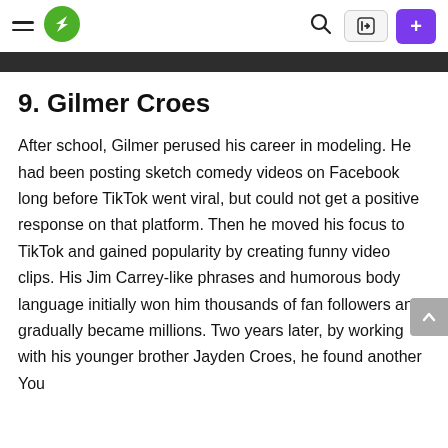Navigation bar with hamburger menu, logo, search icon, login button, and plus button
9. Gilmer Croes
After school, Gilmer perused his career in modeling. He had been posting sketch comedy videos on Facebook long before TikTok went viral, but could not get a positive response on that platform. Then he moved his focus to TikTok and gained popularity by creating funny video clips. His Jim Carrey-like phrases and humorous body language initially won him thousands of fan followers and gradually became millions. Two years later, by working with his younger brother Jayden Croes, he found another YouTube channel called Game Bro, and his...